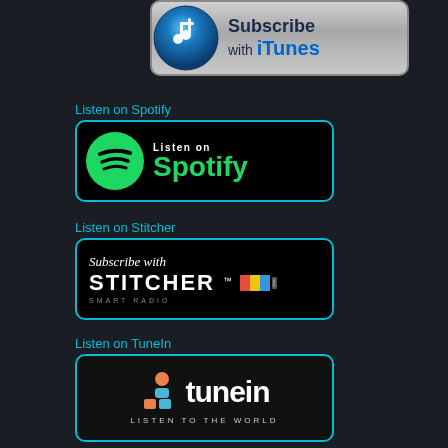[Figure (logo): Subscribe with iTunes button with iTunes music note icon on silver gradient background]
Listen on Spotify
[Figure (logo): Listen on Spotify button with green Spotify logo on black background]
Listen on Stitcher
[Figure (logo): Subscribe with Stitcher Smart Radio button on black background with colorful cassette icon]
Listen on TuneIn
[Figure (logo): TuneIn Listen to the World button with orange and blue icon on dark background]